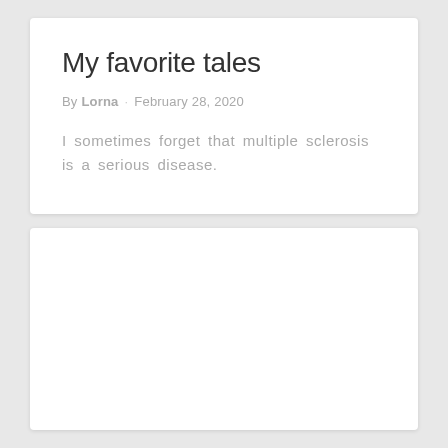My favorite tales
By Lorna · February 28, 2020
I sometimes forget that multiple sclerosis is a serious disease.